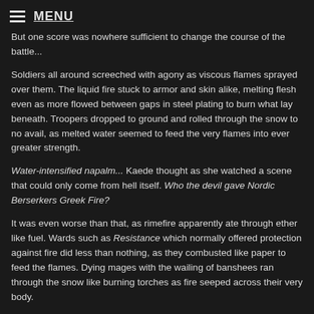☰ MENU
But one score was nowhere sufficient to change the course of the battle...
Soldiers all around screeched with agony as viscous flames sprayed over them. The liquid fire stuck to armor and skin alike, melting flesh even as more flowed between gaps in steel plating to burn what lay beneath. Troopers dropped to ground and rolled through the snow to no avail, as melted water seemed to feed the very flames into ever greater strength.
Water-intensified napalm... Kaede thought as she watched a scene that could only come from hell itself. Who the devil gave Nordic Berserkers Greek Fire?
It was even worse than that, as rimefire apparently ate through ether like fuel. Wards such as Resistance which normally offered protection against fire did less than nothing, as they combusted like paper to feed the flames. Dying mages with the wailing of banshees ran through the snow like burning torches as fire seeped across their very body.